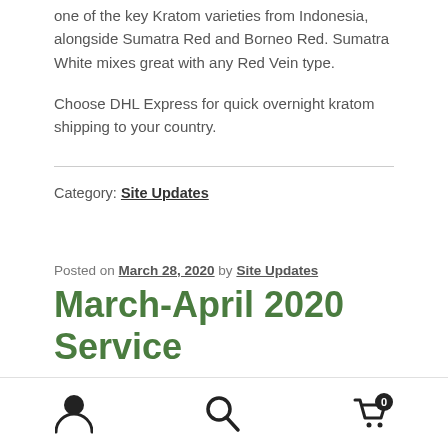one of the key Kratom varieties from Indonesia, alongside Sumatra Red and Borneo Red. Sumatra White mixes great with any Red Vein type.
Choose DHL Express for quick overnight kratom shipping to your country.
Category: Site Updates
Posted on March 28, 2020 by Site Updates
March-April 2020 Service
user icon | search icon | cart (0)